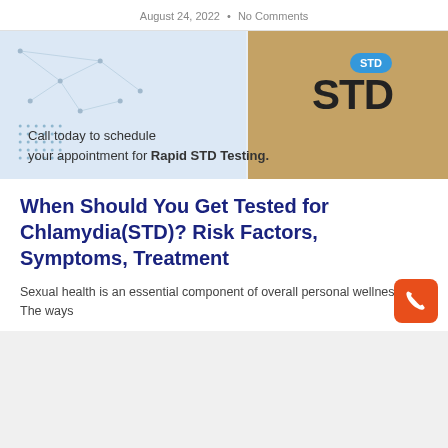August 24, 2022  •  No Comments
[Figure (photo): Medical advertisement image showing a brown package labeled 'STD' with a blue badge saying 'STD', a coffee cup, and geometric network pattern on the left. Text reads: 'Call today to schedule your appointment for Rapid STD Testing.']
When Should You Get Tested for Chlamydia(STD)? Risk Factors, Symptoms, Treatment
Sexual health is an essential component of overall personal wellness. The ways